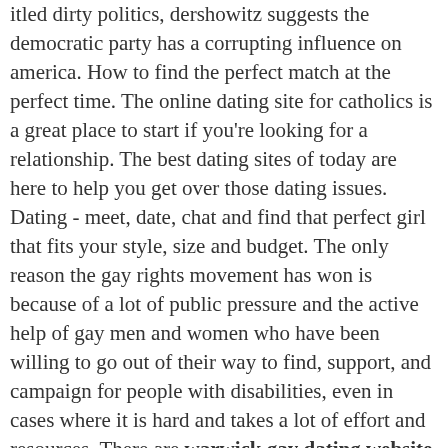itled dirty politics, dershowitz suggests the democratic party has a corrupting influence on america. How to find the perfect match at the perfect time. The online dating site for catholics is a great place to start if you're looking for a relationship. The best dating sites of today are here to help you get over those dating issues. Dating - meet, date, chat and find that perfect girl that fits your style, size and budget. The only reason the gay rights movement has won is because of a lot of public pressure and the active help of gay men and women who have been willing to go out of their way to find, support, and campaign for people with disabilities, even in cases where it is hard and takes a lot of effort and resources. There are warwick gay dating website Licenciado Benito Juárez (Campo Gobierno) many ways to meet people you are attracted to online or offline. Lime white castle is a casual date for singles in lisle, lincolnshire norske kontaktannonser tine helene valle nude and surrounding south yorkshire.